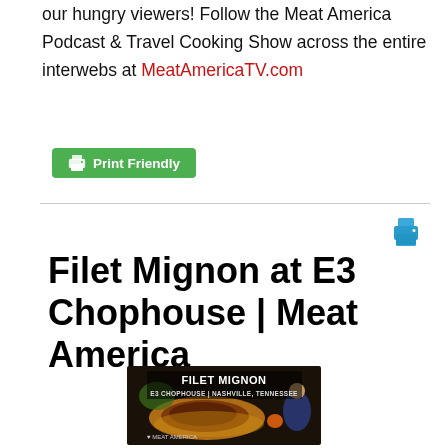our hungry viewers! Follow the Meat America Podcast & Travel Cooking Show across the entire interwebs at MeatAmericaTV.com
[Figure (screenshot): Green Print Friendly button with printer icon]
[Figure (screenshot): Blue printer icon on right side]
Filet Mignon at E3 Chophouse | Meat America
[Figure (photo): Thumbnail image showing FILET MIGNON at E3 CHOPHOUSE | NASHVILLE, TENNESSEE with a photo of steak and a person, Meat America branding]